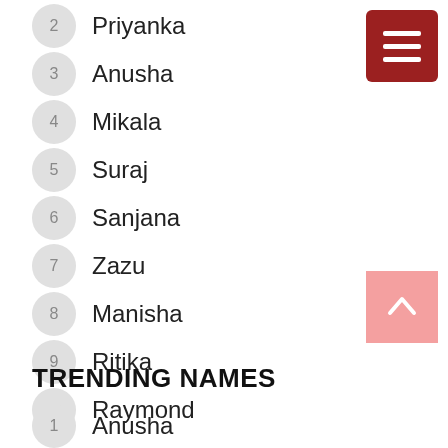2 Priyanka
3 Anusha
4 Mikala
5 Suraj
6 Sanjana
7 Zazu
8 Manisha
9 Ritika
10 Raymond
TRENDING NAMES
1 Anusha